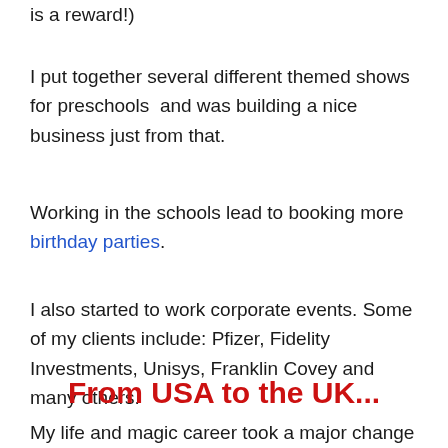is a reward!)
I put together several different themed shows for preschools  and was building a nice business just from that.
Working in the schools lead to booking more birthday parties.
I also started to work corporate events. Some of my clients include: Pfizer, Fidelity Investments, Unisys, Franklin Covey and many others.
From USA to the UK...
My life and magic career took a major change when in 2011 I got married and moved from the